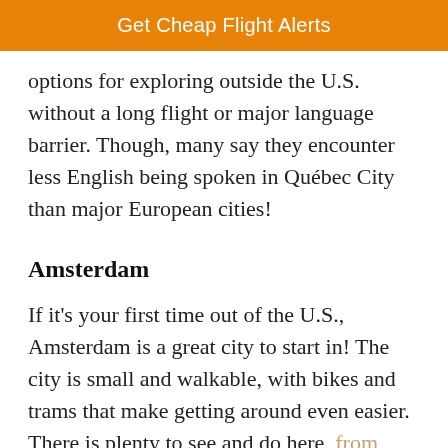Get Cheap Flight Alerts
options for exploring outside the U.S. without a long flight or major language barrier. Though, many say they encounter less English being spoken in Québec City than major European cities!
Amsterdam
If it's your first time out of the U.S., Amsterdam is a great city to start in! The city is small and walkable, with bikes and trams that make getting around even easier. There is plenty to see and do here, from Rijksmuseum to the Anne Frank Huis and so much more.